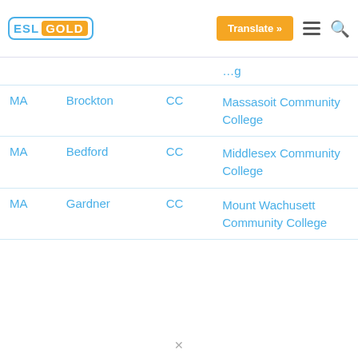ESL GOLD | Translate »
| State | City | Type | School |
| --- | --- | --- | --- |
| MA | Brockton | CC | Massasoit Community College |
| MA | Bedford | CC | Middlesex Community College |
| MA | Gardner | CC | Mount Wachusett Community College |